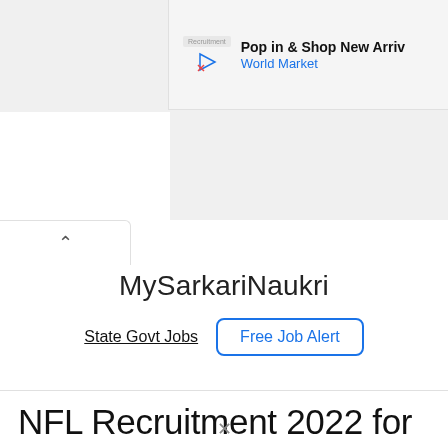[Figure (screenshot): Advertisement banner: Play icon and Recruitment logo on left, text 'Pop in & Shop New Arriv...' and 'World Market' in blue on right, shown on a light grey background]
MySarkariNaukri
State Govt Jobs  Free Job Alert
NFL Recruitment 2022 for Senior Medical Officer